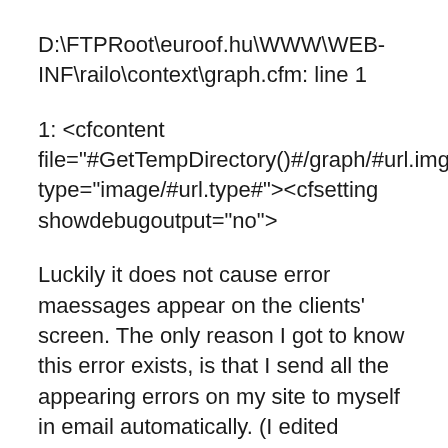D:\FTPRoot\euroof.hu\WWW\WEB-INF\railo\context\graph.cfm: line 1
1: <cfcontent file="#GetTempDirectory()#/graph/#url.img#" type="image/#url.type#"><cfsetting showdebugoutput="no">
Luckily it does not cause error maessages appear on the clients' screen. The only reason I got to know this error exists, is that I send all the appearing errors on my site to myself in email automatically. (I edited error_neo.cfm a bit).
Do you have any idea why this is